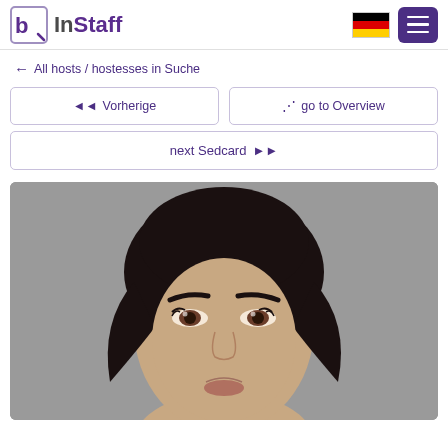InStaff
← All hosts / hostesses in Suche
◄◄ Vorherige
⊞ go to Overview
next Sedcard ▶▶
[Figure (photo): Close-up portrait of a woman with dark hair pulled back, well-defined eyebrows, and brown eyes, against a grey background]